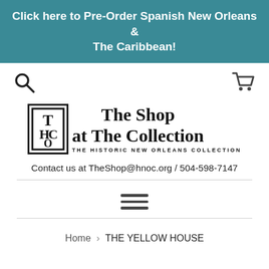Click here to Pre-Order Spanish New Orleans & The Caribbean!
[Figure (logo): Search icon (magnifying glass) on left, shopping cart icon on right]
[Figure (logo): The Shop at The Collection - The Historic New Orleans Collection logo with decorative monogram box]
Contact us at TheShop@hnoc.org / 504-598-7147
[Figure (other): Hamburger menu icon with three horizontal lines]
Home › THE YELLOW HOUSE